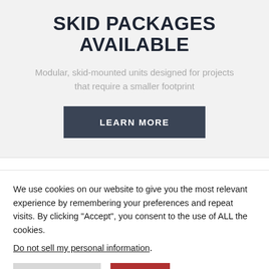SKID PACKAGES AVAILABLE
Modular, skid-mounted units designed for projects that require a smaller footprint
We use cookies on our website to give you the most relevant experience by remembering your preferences and repeat visits. By clicking “Accept”, you consent to the use of ALL the cookies.
Do not sell my personal information.